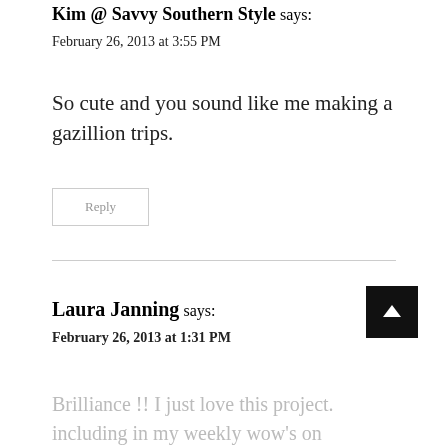Kim @ Savvy Southern Style says:
February 26, 2013 at 3:55 PM
So cute and you sound like me making a gazillion trips.
Reply
Laura Janning says:
February 26, 2013 at 1:31 PM
Brilliance !! I just love this project. including in my weekly wow's on Saturday!!